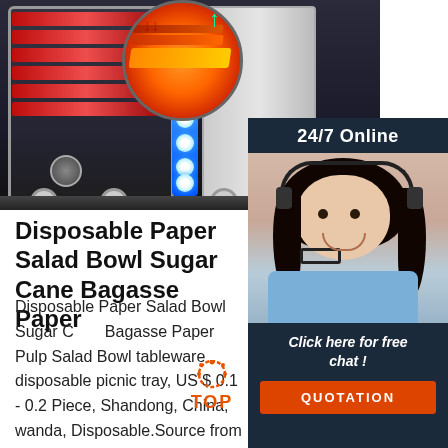[Figure (photo): Product listing page from Alibaba showing industrial food warming equipment/machines with LED lighting, a shoe cross-section diagram, and a 24/7 customer service chat panel with female agent]
Disposable Paper Salad Bowl Sugar Cane Bagasse Paper
Disposable Paper Salad Bowl Sugar Cane Bagasse Paper Pulp Salad Bowl tableware disposable picnic tray, US $ 0.1 - 0.2 Piece, Shandong, China, wanda, Disposable.Source from Qingdao Wanda Shipping Co., Ltd. on Alibaba.com.